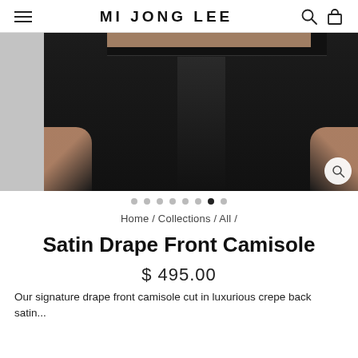MI JONG LEE
[Figure (photo): Fashion product photo showing a model from the torso down wearing black wide-leg trousers against a dark background, with a smaller grey thumbnail on the left and a zoom button in the bottom right corner]
• • • • • • • •  (carousel dots, 7th active)
Home / Collections / All /
Satin Drape Front Camisole
$ 495.00
Our signature drape front camisole cut in luxurious crepe back satin...